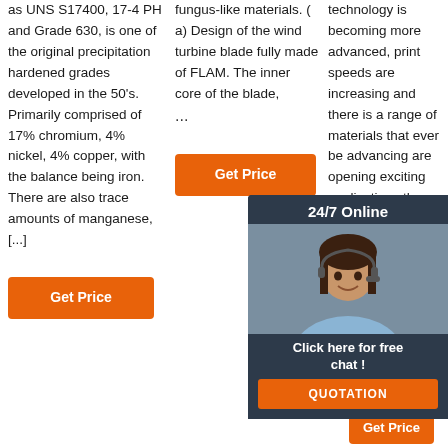as UNS S17400, 17-4 PH and Grade 630, is one of the original precipitation hardened grades developed in the 50's. Primarily comprised of 17% chromium, 4% nickel, 4% copper, with the balance being iron. There are also trace amounts of manganese, [...]
fungus-like materials. ( a) Design of the wind turbine blade fully made of FLAM. The inner core of the blade, ...
technology is becoming more advanced, print speeds are increasing and there is a range of materials that ever be advancing are opening exciting applications the technology. However, to grips available technologies and integrating them into existing workflows can ...
[Figure (screenshot): 24/7 Online chat widget with agent photo, 'Click here for free chat!' text, and orange QUOTATION button]
[Figure (logo): TOP logo in orange with decorative dots]
Get Price
Get Price
Get Price